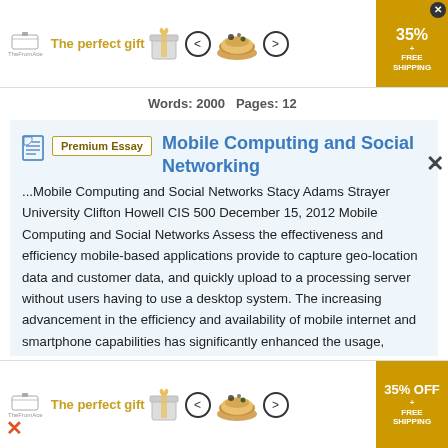[Figure (screenshot): Top advertisement banner: 'The perfect gift' with 35% FREE SHIPPING badge and navigation arrows with bowl image]
Words: 2000   Pages: 12
Mobile Computing and Social Networking
...Mobile Computing and Social Networks Stacy Adams Strayer University Clifton Howell CIS 500 December 15, 2012 Mobile Computing and Social Networks Assess the effectiveness and efficiency mobile-based applications provide to capture geo-location data and customer data, and quickly upload to a processing server without users having to use a desktop system. The increasing advancement in the efficiency and availability of mobile internet and smartphone capabilities has significantly enhanced the usage, capabilities and functionality of mobile
[Figure (screenshot): Bottom advertisement banner: 'The perfect gift' with 35% OFF FREE SHIPPING badge and navigation arrows with bowl image]